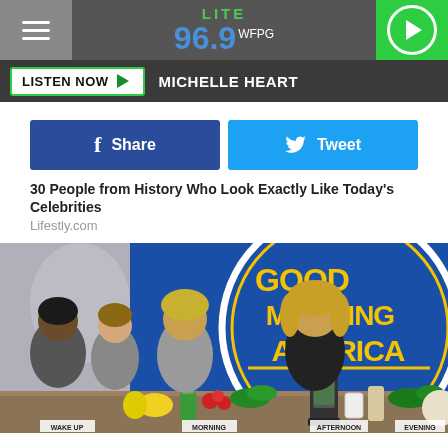LITE 96.9 WFPG
LISTEN NOW  MICHELLE HEART
Share  Tweet
30 People from History Who Look Exactly Like Today's Celebrities
Lifestly.com
[Figure (photo): Photo of women on set of Good Morning America, with blue GMA logo circle backdrop and food items on a table in the foreground labeled WAKE UP, MORNING, AFTERNOON, EVENING]